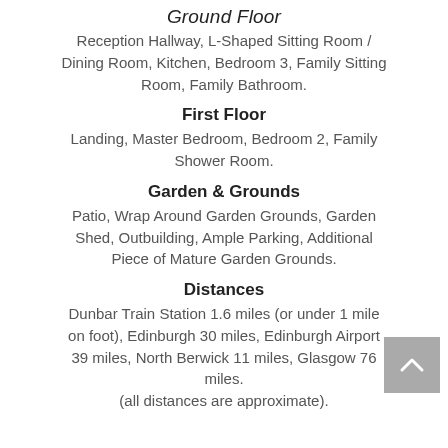Ground Floor
Reception Hallway, L-Shaped Sitting Room / Dining Room, Kitchen, Bedroom 3, Family Sitting Room, Family Bathroom.
First Floor
Landing, Master Bedroom, Bedroom 2, Family Shower Room.
Garden & Grounds
Patio, Wrap Around Garden Grounds, Garden Shed, Outbuilding, Ample Parking, Additional Piece of Mature Garden Grounds.
Distances
Dunbar Train Station 1.6 miles (or under 1 mile on foot), Edinburgh 30 miles, Edinburgh Airport 39 miles, North Berwick 11 miles, Glasgow 76 miles.
(all distances are approximate).